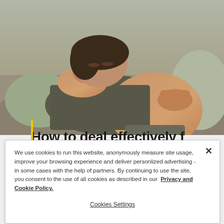[Figure (photo): Pregnant woman lying on a couch or sofa, resting with hand on her forehead and other hand on her bare pregnant belly. She appears to be resting or in discomfort. The image is in color showing a grey/olive colored top and grey shorts.]
How to deal effectively f...
We use cookies to run this website, anonymously measure site usage, improve your browsing experience and deliver personlized advertising - in some cases with the help of partners. By continuing to use the site, you consent to the use of all cookies as described in our  Privacy and Cookie Policy.
Cookies Settings